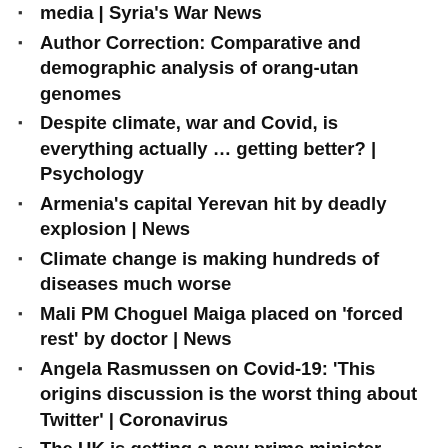media | Syria's War News
Author Correction: Comparative and demographic analysis of orang-utan genomes
Despite climate, war and Covid, is everything actually … getting better? | Psychology
Armenia's capital Yerevan hit by deadly explosion | News
Climate change is making hundreds of diseases much worse
Mali PM Choguel Maiga placed on 'forced rest' by doctor | News
Angela Rasmussen on Covid-19: 'This origins discussion is the worst thing about Twitter' | Coronavirus
The UK is getting a new prime minister — what will it mean for science?
Kenya gets historic number of female governors from August 9 vote | Elections News
The answer to the 'egg prick' question | Eggs
What's going on in Hong Kong's courts? | Courts News
World's largest ice sheet threatened by warm water